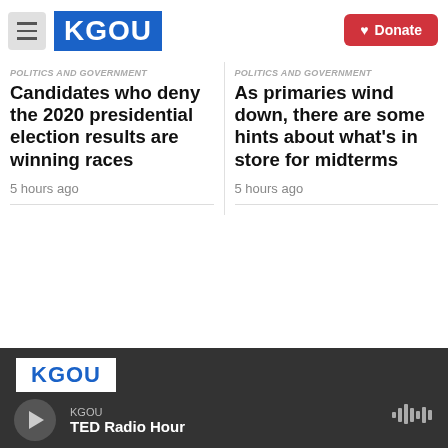KGOU | Donate
Politics and Government
Candidates who deny the 2020 presidential election results are winning races
5 hours ago
Politics and Government
As primaries wind down, there are some hints about what's in store for midterms
5 hours ago
Support nonprofit, public service journalism you trust. Give now. Whatever the news brings next, you'll help KGOU and NPR cover it.
KGOU | TED Radio Hour